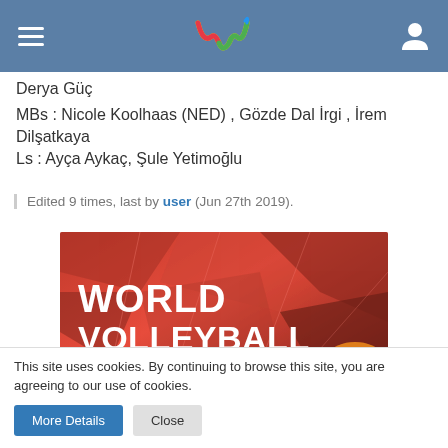Derya Güç
MBs : Nicole Koolhaas (NED) , Gözde Dal İrgi , İrem Dilşatkaya
Ls : Ayça Aykaç, Şule Yetimoğlu
Edited 9 times, last by user (Jun 27th 2019).
[Figure (photo): World Volleyball Coaches Show promotional banner — red geometric background, text reads WORLD VOLLEYBALL COACHES SHOW / 13 - 14.6 | KLADNO (CZE)]
This site uses cookies. By continuing to browse this site, you are agreeing to our use of cookies.